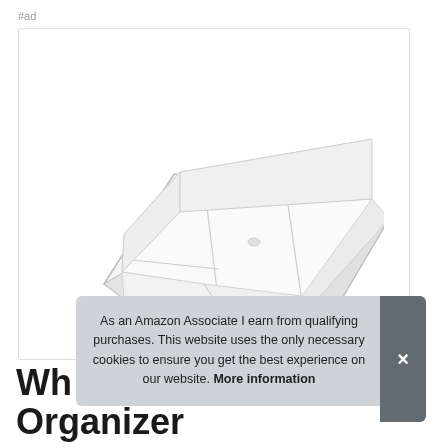#ad
[Figure (photo): Clear acrylic drawer organizer tray with multiple compartments, shown at an angle on white background]
As an Amazon Associate I earn from qualifying purchases. This website uses the only necessary cookies to ensure you get the best experience on our website. More information
Wh Organizer